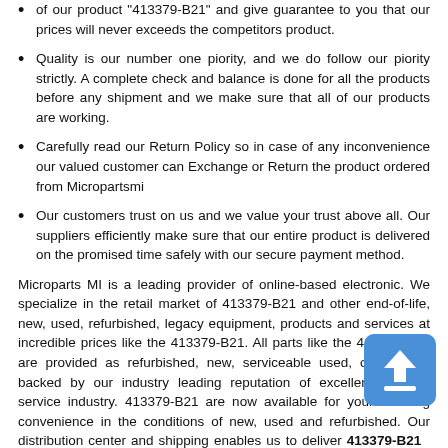of our product "413379-B21" and give guarantee to you that our prices will never exceeds the competitors product.
Quality is our number one piority, and we do follow our piority strictly. A complete check and balance is done for all the products before any shipment and we make sure that all of our products are working.
Carefully read our Return Policy so in case of any inconvenience our valued customer can Exchange or Return the product ordered from Micropartsmi
Our customers trust on us and we value your trust above all. Our suppliers efficiently make sure that our entire product is delivered on the promised time safely with our secure payment method.
Microparts MI is a leading provider of online-based electronic. We specialize in the retail market of 413379-B21 and other end-of-life, new, used, refurbished, legacy equipment, products and services at incredible prices like the 413379-B21. All parts like the 413379-B21 are provided as refurbished, new, serviceable used, or and are backed by our industry leading reputation of excellence in the service industry. 413379-B21 are now available for your ordering convenience in the conditions of new, used and refurbished. Our distribution center and shipping enables us to deliver 413379-B21 along with millions of our other parts in our warehouse available direct to you.
Questions concerning the 413379-B21 can be made an e-mail we can be